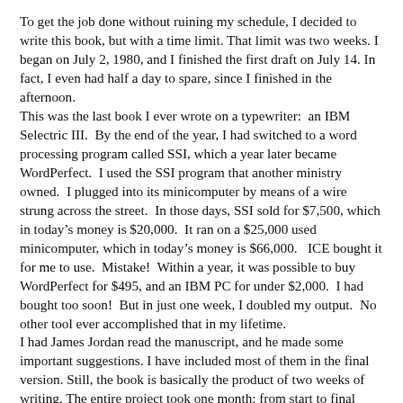To get the job done without ruining my schedule, I decided to write this book, but with a time limit. That limit was two weeks. I began on July 2, 1980, and I finished the first draft on July 14. In fact, I even had half a day to spare, since I finished in the afternoon.
This was the last book I ever wrote on a typewriter:  an IBM Selectric III.  By the end of the year, I had switched to a word processing program called SSI, which a year later became WordPerfect.  I used the SSI program that another ministry owned.  I plugged into its minicomputer by means of a wire strung across the street.  In those days, SSI sold for $7,500, which in today’s money is $20,000.  It ran on a $25,000 used minicomputer, which in today’s money is $66,000.   ICE bought it for me to use.  Mistake!  Within a year, it was possible to buy WordPerfect for $495, and an IBM PC for under $2,000.  I had bought too soon!  But in just one week, I doubled my output.  No other tool ever accomplished that in my lifetime.
I had James Jordan read the manuscript, and he made some important suggestions. I have included most of them in the final version. Still, the book is basically the product of two weeks of writing. The entire project took one month: from start to final draft.
I wanted it to be readable. Complexity makes books unreadable, so I wrote it rapidly: no notes, no outline, and with only the chapter headings in mind. But I had been studying the Bible for